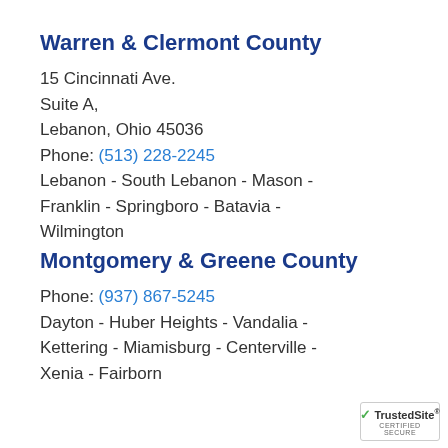Warren & Clermont County
15 Cincinnati Ave.
Suite A,
Lebanon, Ohio 45036
Phone: (513) 228-2245
Lebanon - South Lebanon - Mason - Franklin - Springboro - Batavia - Wilmington
Montgomery & Greene County
Phone: (937) 867-5245
Dayton - Huber Heights - Vandalia - Kettering - Miamisburg - Centerville - Xenia - Fairborn
[Figure (logo): TrustedSite CERTIFIED SECURE badge with green checkmark]